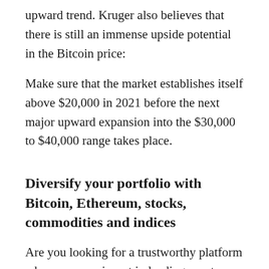upward trend. Kruger also believes that there is still an immense upside potential in the Bitcoin price:
Make sure that the market establishes itself above $20,000 in 2021 before the next major upward expansion into the $30,000 to $40,000 range takes place.
Diversify your portfolio with Bitcoin, Ethereum, stocks, commodities and indices
Are you looking for a trustworthy platform where you can invest in leading crypto currencies such as Bitcoin (BTC), Ethereum